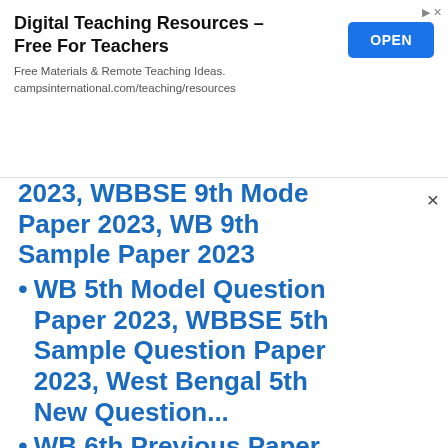[Figure (infographic): Advertisement banner: 'Digital Teaching Resources - Free For Teachers', subtitle 'Free Materials & Remote Teaching Ideas. campsinternational.com/teaching/resources', with a blue OPEN button on the right.]
2023, WBBSE 9th Model Paper 2023, WB 9th Sample Paper 2023
WB 5th Model Question Paper 2023, WBBSE 5th Sample Question Paper 2023, West Bengal 5th New Question...
WB 6th Previous Paper 2023, WBBSE 6th Model Paper 2023, WB Board 6th Question Paper